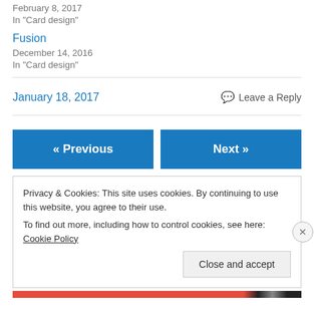February 8, 2017
In "Card design"
Fusion
December 14, 2016
In "Card design"
January 18, 2017
Leave a Reply
« Previous
Next »
Privacy & Cookies: This site uses cookies. By continuing to use this website, you agree to their use.
To find out more, including how to control cookies, see here: Cookie Policy
Close and accept